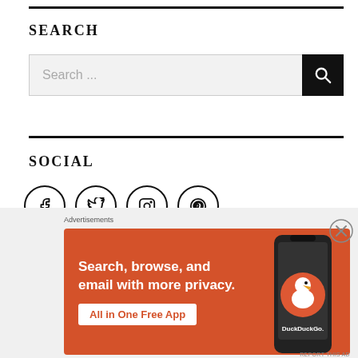SEARCH
[Figure (other): Search input box with placeholder text 'Search ...' and a black search button with magnifying glass icon]
SOCIAL
[Figure (other): Four social media icons in circles: Facebook, Twitter, Instagram, Pinterest]
Advertisements
[Figure (other): DuckDuckGo advertisement banner with orange background. Text: 'Search, browse, and email with more privacy. All in One Free App'. Shows a smartphone with DuckDuckGo logo and branding.]